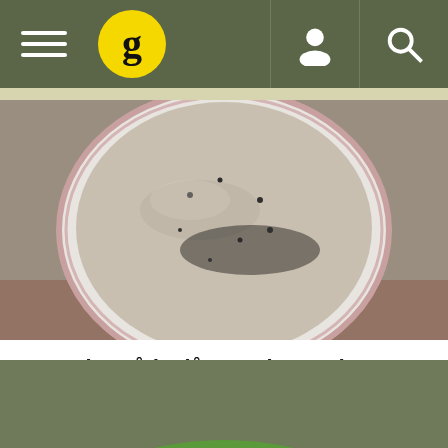Navigation bar with hamburger menu, Gousto logo, user icon, search icon
[Figure (photo): A plate of beige-colored eggplant dip (Borani-e Bådenjån) with black pepper on top, served on a white plate with red rim stripe]
Borani-e Bådenjån - Onion and eggplant dip from Persia
[Figure (other): Star rating: 2 out of 5 stars (first star full gold, second star half gold, remaining three stars empty/gray)]
Borani-e Bådenjån is an onion and eggplant dip, part of the meze menu recipes usually served all over the Mediterranean Sea
[Figure (photo): A green bowl containing white yogurt-based dip garnished with a black olive and fresh rosemary sprig, placed on what appears to be flatbread]